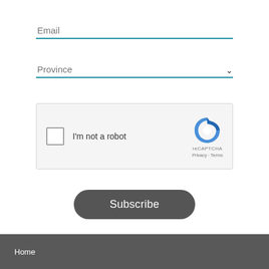Email
Province
[Figure (screenshot): reCAPTCHA widget with checkbox labeled 'I'm not a robot', reCAPTCHA logo, Privacy and Terms links]
Subscribe
Home